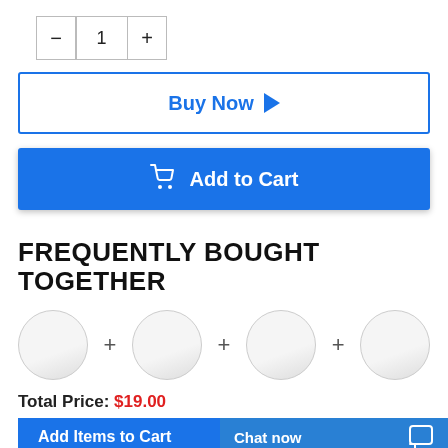[Figure (screenshot): Quantity selector with minus button, number 1, and plus button in bordered cells]
Buy Now ▶
Add to Cart
FREQUENTLY BOUGHT TOGETHER
[Figure (illustration): Four product placeholder circles arranged in a row separated by plus signs]
Total Price: $19.00
Add Items to Cart
Chat now